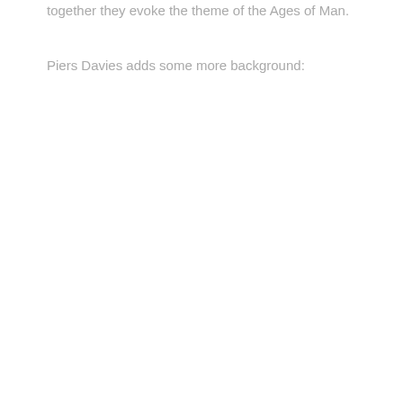together they evoke the theme of the Ages of Man.
Piers Davies adds some more background: